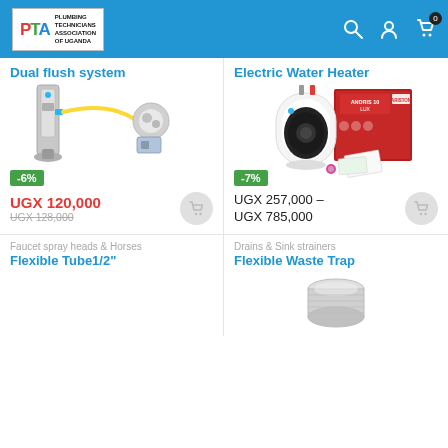PTA - Plumbing Technicians Association of Uganda
Dual flush system
[Figure (photo): Dual flush system toilet fill valve and flush button mechanism]
-6%
UGX 120,000
UGX 128,000 (strikethrough)
Electric Water Heater
[Figure (photo): Electric water heater (Ariston ANDRIS 10 LUX) with box and accessories]
-7%
UGX 257,000 – UGX 785,000
Faucet spray heads & Horses
Flexible Tube1/2"
Drains & Sink strainers
Flexible Waste Trap
[Figure (photo): Flexible waste trap pipe fitting, chrome/silver metal]